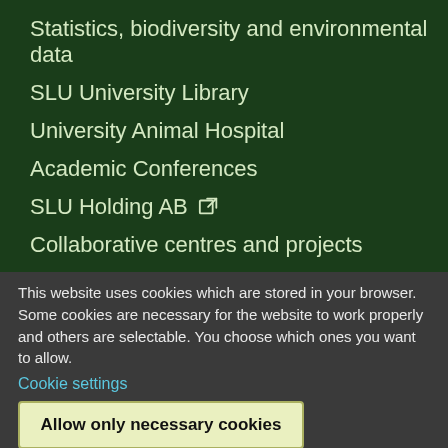Statistics, biodiversity and environmental data
SLU University Library
University Animal Hospital
Academic Conferences
SLU Holding AB ↗
Collaborative centres and projects
This website uses cookies which are stored in your browser. Some cookies are necessary for the website to work properly and others are selectable. You choose which ones you want to allow.
Cookie settings
Allow only necessary cookies
Allow all cookies